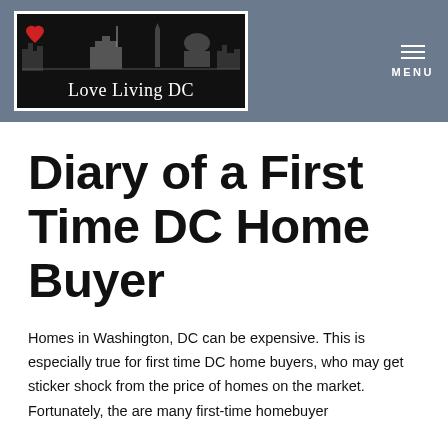Love Living DC — MENU
Diary of a First Time DC Home Buyer
Homes in Washington, DC can be expensive. This is especially true for first time DC home buyers, who may get sticker shock from the price of homes on the market. Fortunately, the are many first-time homebuyer